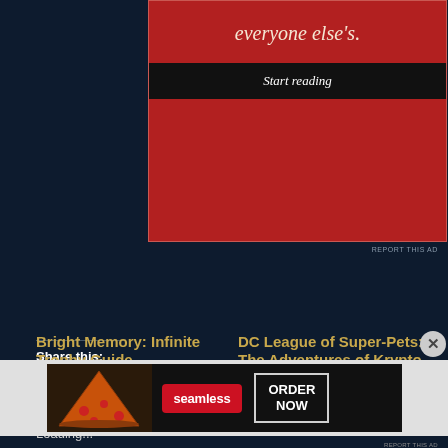[Figure (other): Red advertisement banner with italic serif text 'everyone else's.' and a black 'Start reading' button]
REPORT THIS AD
Share this:
[Figure (other): Twitter (blue circle) and Facebook (blue circle) share buttons]
Loading...
Bright Memory: Infinite Trophy Guide
DC League of Super-Pets: The Adventures of Krypto
[Figure (other): Seamless food delivery advertisement with pizza image, Seamless logo, and ORDER NOW button]
REPORT THIS AD